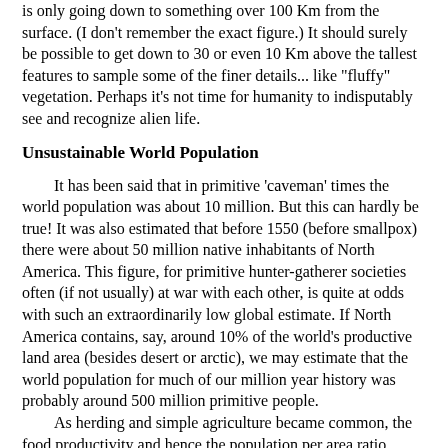is only going down to something over 100 Km from the surface. (I don't remember the exact figure.) It should surely be possible to get down to 30 or even 10 Km above the tallest features to sample some of the finer details... like "fluffy" vegetation. Perhaps it's not time for humanity to indisputably see and recognize alien life.
Unsustainable World Population
It has been said that in primitive 'caveman' times the world population was about 10 million. But this can hardly be true! It was also estimated that before 1550 (before smallpox) there were about 50 million native inhabitants of North America. This figure, for primitive hunter-gatherer societies often (if not usually) at war with each other, is quite at odds with such an extraordinarily low global estimate. If North America contains, say, around 10% of the world's productive land area (besides desert or arctic), we may estimate that the world population for much of our million year history was probably around 500 million primitive people.
As herding and simple agriculture became common, the food productivity and hence the population per area ratio perhaps quadrupled. This would indicate that the world could, and probably did, support around 2 billion people in more recent millennia. (IIRC, the population before world war one was around 1.8 billion.)
When agriculture started to become mechanized, more people